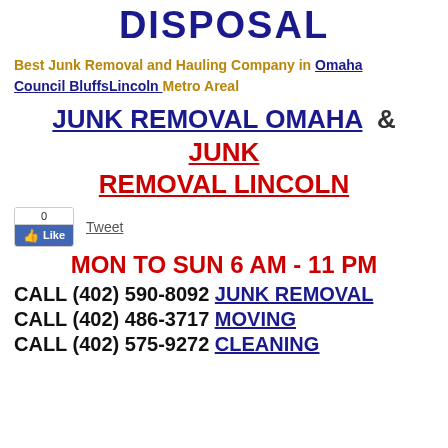DISPOSAL
Best Junk Removal and Hauling Company in Omaha Council BluffsLincoln Metro Areal
JUNK REMOVAL OMAHA & JUNK REMOVAL LINCOLN
[Figure (other): Facebook Like button (0 likes) and Tweet button]
MON TO SUN 6 AM - 11 PM
CALL (402) 590-8092 JUNK REMOVAL
CALL (402) 486-3717 MOVING
CALL (402) 575-9272 CLEANING